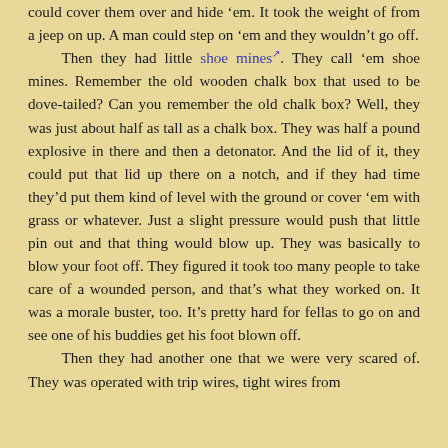could cover them over and hide 'em. It took the weight of from a jeep on up. A man could step on 'em and they wouldn't go off.

Then they had little shoe mines. They call 'em shoe mines. Remember the old wooden chalk box that used to be dove-tailed? Can you remember the old chalk box? Well, they was just about half as tall as a chalk box. They was half a pound explosive in there and then a detonator. And the lid of it, they could put that lid up there on a notch, and if they had time they'd put them kind of level with the ground or cover 'em with grass or whatever. Just a slight pressure would push that little pin out and that thing would blow up. They was basically to blow your foot off. They figured it took too many people to take care of a wounded person, and that's what they worked on. It was a morale buster, too. It's pretty hard for fellas to go on and see one of his buddies get his foot blown off.

Then they had another one that we were very scared of. They was operated with trip wires, tight wires from